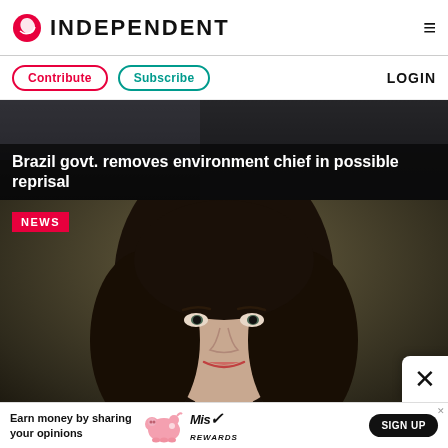INDEPENDENT
Contribute  Subscribe  LOGIN
[Figure (photo): Dark photo showing partial interior scene, with headline overlay: Brazil govt. removes environment chief in possible reprisal]
Brazil govt. removes environment chief in possible reprisal
[Figure (photo): Photo of a dark-haired woman against a dark olive-brown background, with NEWS badge in upper left]
[Figure (other): Advertisement banner: Earn money by sharing your opinions — Miss Rewards SIGN UP]